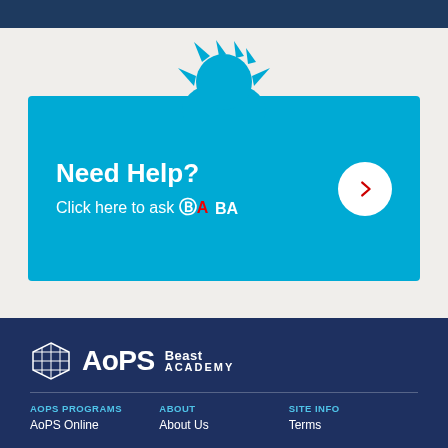[Figure (illustration): Beast Academy mascot monster silhouette in blue, peeking above the help card]
Need Help?
Click here to ask BA
[Figure (logo): AoPS Beast Academy logo with cube icon, white text on dark navy background]
AOPS PROGRAMS
AoPS Online
ABOUT
About Us
SITE INFO
Terms